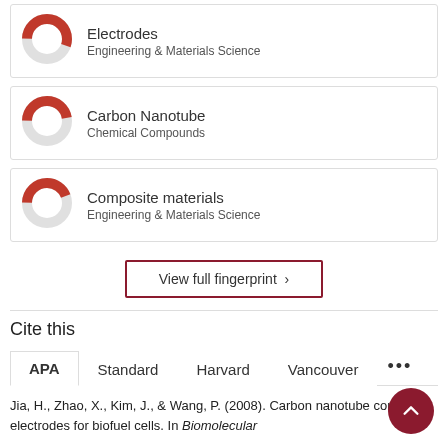[Figure (donut-chart): Donut chart showing ~55% fill for Electrodes, Engineering & Materials Science]
Electrodes
Engineering & Materials Science
[Figure (donut-chart): Donut chart showing ~47% fill for Carbon Nanotube, Chemical Compounds]
Carbon Nanotube
Chemical Compounds
[Figure (donut-chart): Donut chart showing ~44% fill for Composite materials, Engineering & Materials Science]
Composite materials
Engineering & Materials Science
View full fingerprint >
Cite this
APA   Standard   Harvard   Vancouver   ...
Jia, H., Zhao, X., Kim, J., & Wang, P. (2008). Carbon nanotube composite electrodes for biofuel cells. In Biomolecular